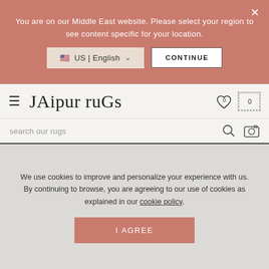You are on our Middle East website. Please select your region to see content specific for your location.
US | English
CONTINUE
JAIPUR RUGS
search our rugs
HOME · RUGS · TRADITIONAL RUGS · ACAR
Acar
CODE: HWB-1001
[Figure (photo): Partial view of a traditional rug with subtle pattern in grey and beige tones]
We use cookies to improve and personalize your experience with us. By continuing to browse, you are agreeing to our use of cookies as explained in our cookie policy.
I AGREE